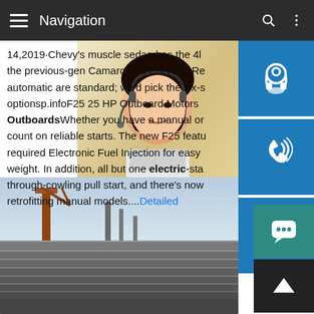Navigation
14,2019·Chevy's muscle sedan has the 4l the previous-gen Camaro and Corvette.Re automatic are standard; we'd pick the six-s optionsp.infoF25 25 HP Outboard Motors OutboardsWhether you have a manual or count on reliable starts. The new F25 featu required Electronic Fuel Injection for easy weight. In addition, all but one electric-sta through-cowling pull start, and there's now retrofitting manual models....Detailed
[Figure (photo): Woman with headset smiling, customer service representative, with blue contact icons on the right (headset/support, phone, Skype). Overlay text: MANUAL SE, QUOTING O, bsteel1@163.com]
[Figure (photo): Stack of steel plates with industrial crane/equipment in background]